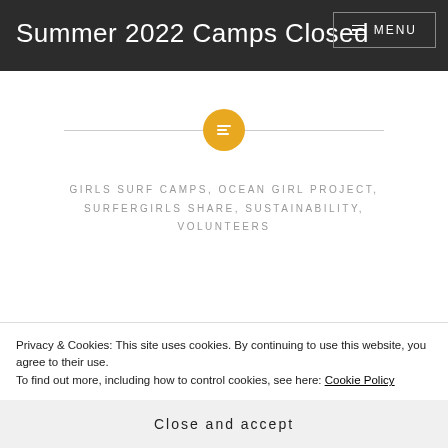Summer 2022 Camps Closed
[Figure (illustration): Orange circular icon with a list/table symbol inside, centered on a horizontal divider line]
GIRLS SURF CAMPS, OCEAN GIRL PROJECT, SURFERGIRLS SHARE, SUSTAINABILITY, VOLUNTEERS
Privacy & Cookies: This site uses cookies. By continuing to use this website, you agree to their use.
To find out more, including how to control cookies, see here: Cookie Policy
Close and accept
Herbs, Surf and Anapua